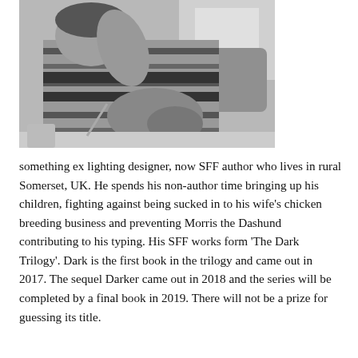[Figure (photo): Black and white photograph of a person in a striped sweater leaning over a desk, appearing to write or work, with a chair visible in the background.]
something ex lighting designer, now SFF author who lives in rural Somerset, UK. He spends his non-author time bringing up his children, fighting against being sucked in to his wife's chicken breeding business and preventing Morris the Dashund contributing to his typing. His SFF works form 'The Dark Trilogy'. Dark is the first book in the trilogy and came out in 2017. The sequel Darker came out in 2018 and the series will be completed by a final book in 2019. There will not be a prize for guessing its title.